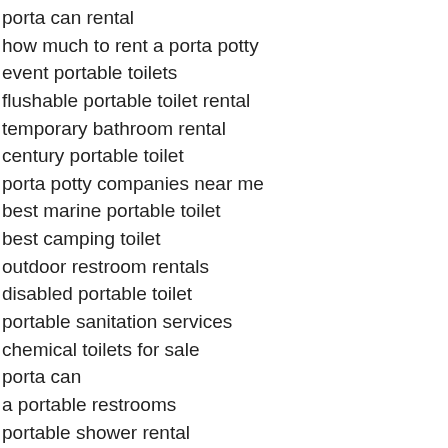porta can rental
how much to rent a porta potty
event portable toilets
flushable portable toilet rental
temporary bathroom rental
century portable toilet
porta potty companies near me
best marine portable toilet
best camping toilet
outdoor restroom rentals
disabled portable toilet
portable sanitation services
chemical toilets for sale
porta can
a portable restrooms
portable shower rental
national portable toilet rental
portable bathrooms near me
portable toilet hire prices